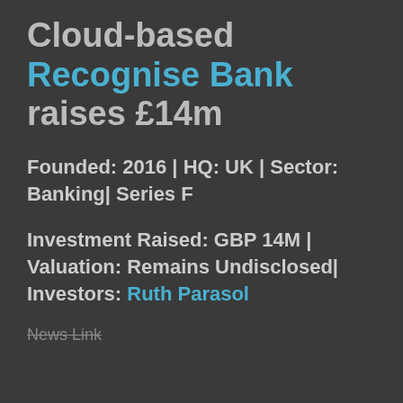Cloud-based Recognise Bank raises £14m
Founded: 2016 | HQ: UK | Sector: Banking| Series F
Investment Raised: GBP 14M | Valuation: Remains Undisclosed| Investors: Ruth Parasol
News Link